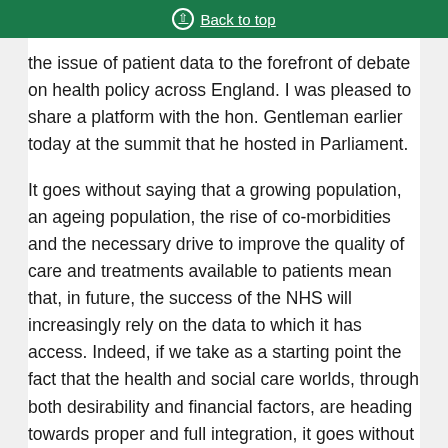Back to top
the issue of patient data to the forefront of debate on health policy across England. I was pleased to share a platform with the hon. Gentleman earlier today at the summit that he hosted in Parliament.
It goes without saying that a growing population, an ageing population, the rise of co-morbidities and the necessary drive to improve the quality of care and treatments available to patients mean that, in future, the success of the NHS will increasingly rely on the data to which it has access. Indeed, if we take as a starting point the fact that the health and social care worlds, through both desirability and financial factors, are heading towards proper and full integration, it goes without saying that in breaking down the structural silos between the NHS